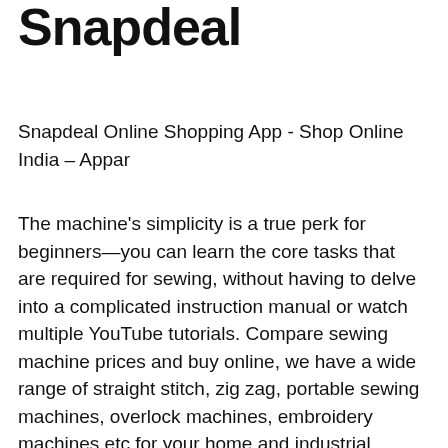Snapdeal
Snapdeal Online Shopping App - Shop Online India – Appar
The machine's simplicity is a true perk for beginners—you can learn the core tasks that are required for sewing, without having to delve into a complicated instruction manual or watch multiple YouTube tutorials. Compare sewing machine prices and buy online, we have a wide range of straight stitch, zig zag, portable sewing machines, overlock machines, embroidery machines etc for your home and industrial needs in Sri Lanka. Shop online now. Luxja Sewing Machine Carrying Bag with Removable Padding Pad, Travel Case for Sewing Machines and Accessories (Fit for Most Standard…